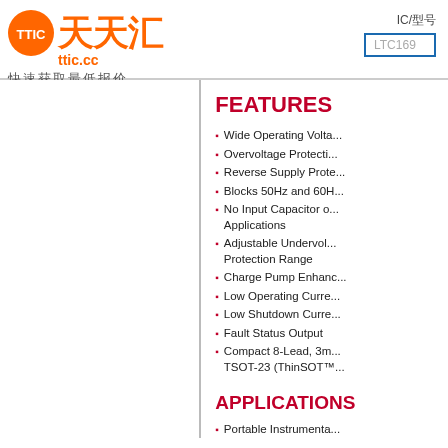TTIC 天天汇 ttic.cc 快速获取最低报价 | IC/型号 | LTC169...
FEATURES
Wide Operating Volta...
Overvoltage Protecti...
Reverse Supply Prote...
Blocks 50Hz and 60H...
No Input Capacitor o... Applications
Adjustable Undervol... Protection Range
Charge Pump Enhanc...
Low Operating Curre...
Low Shutdown Curre...
Fault Status Output
Compact 8-Lead, 3m... TSOT-23 (ThinSOT™...
APPLICATIONS
Portable Instrumenta...
Industrial Automatio...
Laptops
Automotive